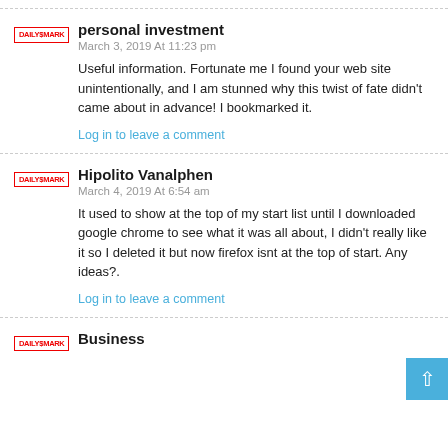personal investment
March 3, 2019 At 11:23 pm
Useful information. Fortunate me I found your web site unintentionally, and I am stunned why this twist of fate didn't came about in advance! I bookmarked it.
Log in to leave a comment
Hipolito Vanalphen
March 4, 2019 At 6:54 am
It used to show at the top of my start list until I downloaded google chrome to see what it was all about, I didn't really like it so I deleted it but now firefox isnt at the top of start. Any ideas?.
Log in to leave a comment
Business